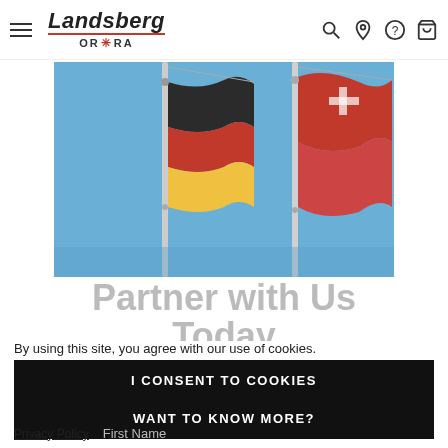Landsberg ORORA — navigation header with hamburger menu and icons
[Figure (photo): Photograph of German and Swiss flags flying against a clear blue sky, with flag poles visible]
Partner with Us Today
By using this site, you agree with our use of cookies.
I CONSENT TO COOKIES
WANT TO KNOW MORE?
Privacy Policy   First Name